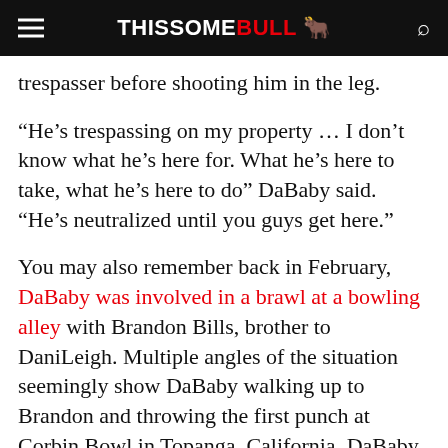THISSOME BULL
trespasser before shooting him in the leg.
“He’s trespassing on my property … I don’t know what he’s here for. What he’s here to take, what he’s here to do” DaBaby said. “He’s neutralized until you guys get here.”
You may also remember back in February, DaBaby was involved in a brawl at a bowling alley with Brandon Bills, brother to DaniLeigh. Multiple angles of the situation seemingly show DaBaby walking up to Brandon and throwing the first punch at Corbin Bowl in Topanga, California. DaBaby went on to claim self defense. But the case has since stalled due to Brandon’s refusal to cooperate with law enforcement.